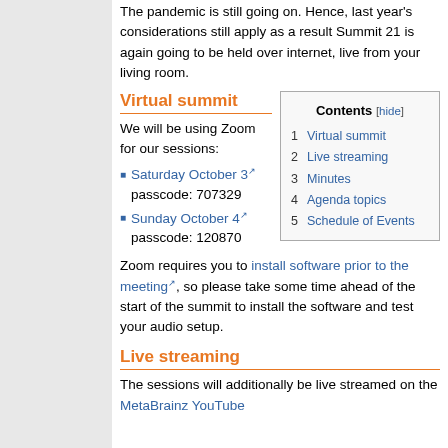The pandemic is still going on. Hence, last year's considerations still apply as a result Summit 21 is again going to be held over internet, live from your living room.
Virtual summit
We will be using Zoom for our sessions:
| Contents | hide |
| --- | --- |
| 1 | Virtual summit |
| 2 | Live streaming |
| 3 | Minutes |
| 4 | Agenda topics |
| 5 | Schedule of Events |
Saturday October 3 passcode: 707329
Sunday October 4 passcode: 120870
Zoom requires you to install software prior to the meeting, so please take some time ahead of the start of the summit to install the software and test your audio setup.
Live streaming
The sessions will additionally be live streamed on the MetaBrainz YouTube